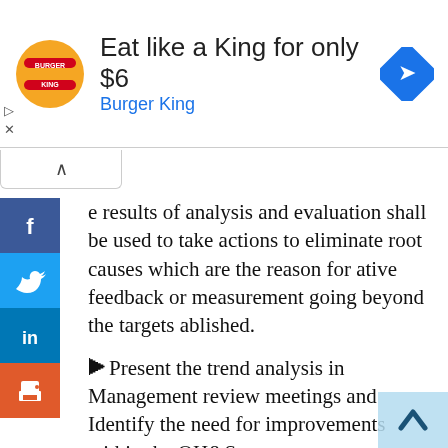[Figure (screenshot): Burger King advertisement banner: logo on left, text 'Eat like a King for only $6' and 'Burger King' in blue, blue diamond arrow icon on right]
[Figure (screenshot): Social media share sidebar with Facebook, Twitter, LinkedIn, and Print buttons]
e results of analysis and evaluation shall be used to take actions to eliminate root causes which are the reason for ative feedback or measurement going beyond the targets ablished.
Present the trend analysis in Management review meetings and Identify the need for improvements within the OH&S management system through evaluation of these processes.
Analysis and Evaluation of data may specify a number of areas of concerns or risks. Adequate actions should be taken pro-actively to ensure these risks or problems are adequately addressed before they reach severe levels and